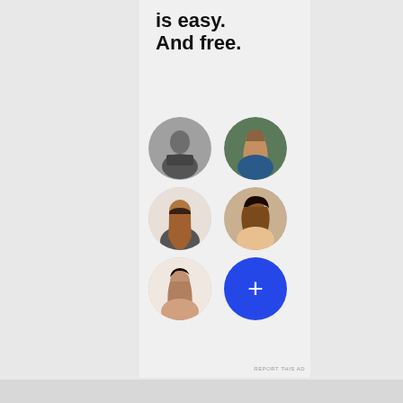is easy.
And free.
[Figure (illustration): Six circular avatar portraits in a 2-column grid: row 1 - man in black jacket (grayscale), woman with long brown hair; row 2 - man with beard, woman with natural hair; row 3 - Asian woman, blue circle with white plus sign (add button)]
REPORT THIS AD